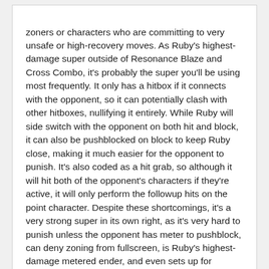zoners or characters who are committing to very unsafe or high-recovery moves. As Ruby's highest-damage super outside of Resonance Blaze and Cross Combo, it's probably the super you'll be using most frequently. It only has a hitbox if it connects with the opponent, so it can potentially clash with other hitboxes, nullifying it entirely. While Ruby will side switch with the opponent on both hit and block, it can also be pushblocked on block to keep Ruby close, making it much easier for the opponent to punish. It's also coded as a hit grab, so although it will hit both of the opponent's characters if they're active, it will only perform the followup hits on the point character. Despite these shortcomings, it's a very strong super in its own right, as it's very hard to punish unless the opponent has meter to pushblock, can deny zoning from fullscreen, is Ruby's highest-damage metered ender, and even sets up for safejump oki if used after a Gunblast landing cancel. Use it wisely, and it's a powerful move to have in your arsenal.
Petal Dance